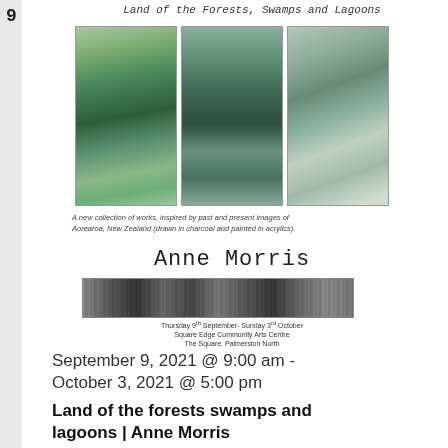9
Land of the Forests, Swamps and Lagoons
[Figure (illustration): Three vertical rectangular paintings showing forest, swamp and lagoon scenes with trees, water and a cottage]
A new collection of works, inspired by past and present images of Aorearoa, New Zealand (drawn in charcoal and painted in acrylics).
Anne Morris
[Figure (illustration): Horizontal charcoal/black and white textured strip image of landscape]
Thursday 9th September- Sunday 3rd October
Square Edge Community Arts Centre
The Square, Palmerston North
September 9, 2021 @ 9:00 am - October 3, 2021 @ 5:00 pm
Land of the forests swamps and lagoons | Anne Morris